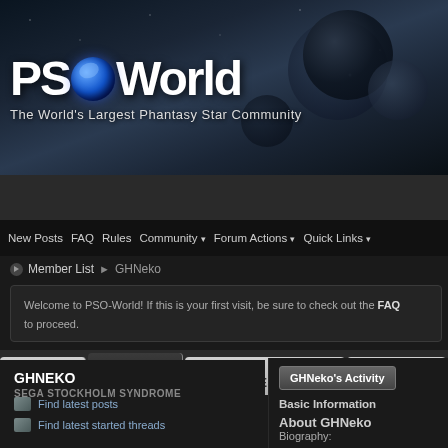[Figure (screenshot): PSO-World website header banner with space background showing planets and stars, with PSO-World logo (white text with blue circular O) and tagline 'The World's Largest Phantasy Star Community']
PSO World - The World's Largest Phantasy Star Community
NEWS | FORUMS | GUIDES & DATABASES | GALLERY
New Posts  FAQ  Rules  Community ▾  Forum Actions ▾  Quick Links ▾
Member List ► GHNeko
Welcome to PSO-World! If this is your first visit, be sure to check out the FAQ to proceed.
GHNEKO
SEGA STOCKHOLM SYNDROME
Find latest posts
Find latest started threads
GHNeko's Activity
Basic Information
About GHNeko
Biography: